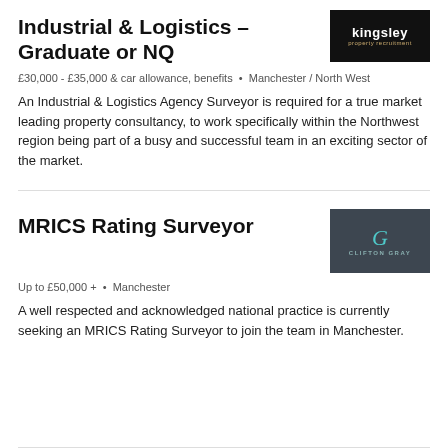Industrial & Logistics – Graduate or NQ
[Figure (logo): Kingsley property recruitment logo — white text on black background]
£30,000 - £35,000 & car allowance, benefits • Manchester / North West
An Industrial & Logistics Agency Surveyor is required for a true market leading property consultancy, to work specifically within the Northwest region being part of a busy and successful team in an exciting sector of the market.
MRICS Rating Surveyor
[Figure (logo): Clifton Gray logo — teal G letter on dark grey background]
Up to £50,000 + • Manchester
A well respected and acknowledged national practice is currently seeking an MRICS Rating Surveyor to join the team in Manchester.